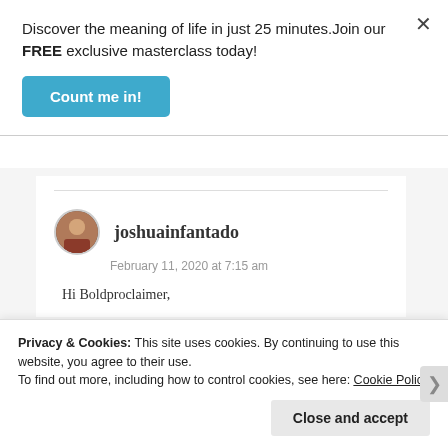Discover the meaning of life in just 25 minutes. Join our FREE exclusive masterclass today!
Count me in!
joshuainfantado
February 11, 2020 at 7:15 am
Hi Boldproclaimer,
Privacy & Cookies: This site uses cookies. By continuing to use this website, you agree to their use.
To find out more, including how to control cookies, see here: Cookie Policy
Close and accept